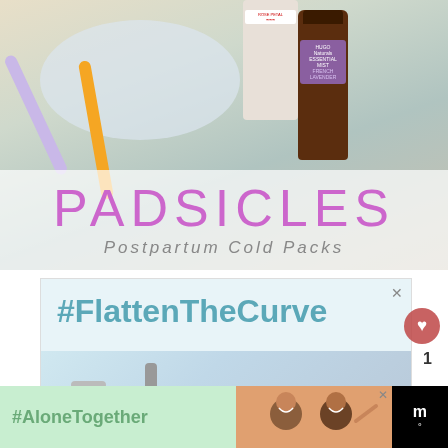[Figure (photo): Photo of DIY padsicles ingredients: lavender and orange silicone brushes, a bottle of Hugo Naturals French Lavender Essential Mist, and a bottle of Witch Hazel Rose Petal Toner, arranged around a bowl, with a semi-transparent white band overlay showing the text PADSICLES and Postpartum Cold Packs]
PADSICLES
Postpartum Cold Packs
[Figure (photo): Advertisement banner with #FlattenTheCurve hashtag text in teal, and a photo of hands under a faucet with a soap dispenser, with a close X button]
[Figure (photo): Bottom advertisement strip showing #AloneTogether in green text on light green background, a photo of a smiling family on a video call, with close X button, and a dark logo block on the right]